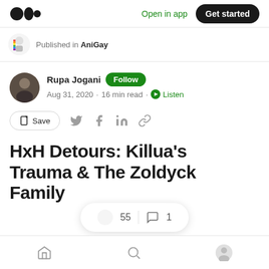Medium logo | Open in app | Get started
Published in AniGay
Rupa Jogani Follow
Aug 31, 2020 · 16 min read · Listen
Save
HxH Detours: Killua's Trauma & The Zoldyck Family
55 claps | 1 comment
Home | Search | Profile